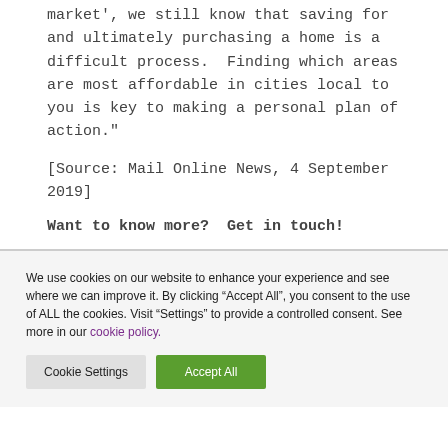market', we still know that saving for and ultimately purchasing a home is a difficult process.  Finding which areas are most affordable in cities local to you is key to making a personal plan of action."
[Source: Mail Online News, 4 September 2019]
Want to know more?  Get in touch!
We use cookies on our website to enhance your experience and see where we can improve it. By clicking “Accept All”, you consent to the use of ALL the cookies. Visit "Settings" to provide a controlled consent. See more in our cookie policy.
Cookie Settings | Accept All